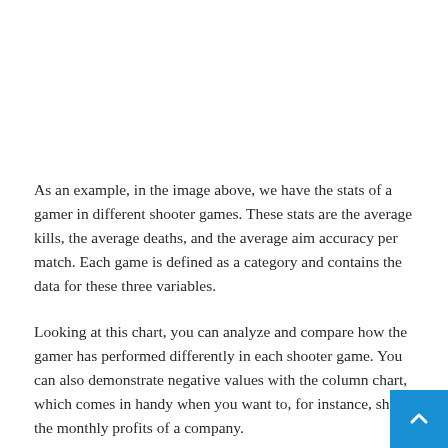As an example, in the image above, we have the stats of a gamer in different shooter games. These stats are the average kills, the average deaths, and the average aim accuracy per match. Each game is defined as a category and contains the data for these three variables.
Looking at this chart, you can analyze and compare how the gamer has performed differently in each shooter game. You can also demonstrate negative values with the column chart, which comes in handy when you want to, for instance, show the monthly profits of a company.